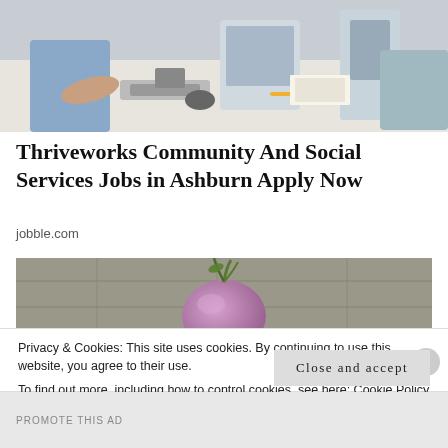[Figure (photo): Office scene with people working at desks with computers and keyboards, seen from above/side angle]
Thriveworks Community And Social Services Jobs in Ashburn Apply Now
jobble.com
[Figure (photo): Close-up photo of a purple/pink turnip with green stem against a stone/concrete background]
Privacy & Cookies: This site uses cookies. By continuing to use this website, you agree to their use.
To find out more, including how to control cookies, see here: Cookie Policy
Close and accept